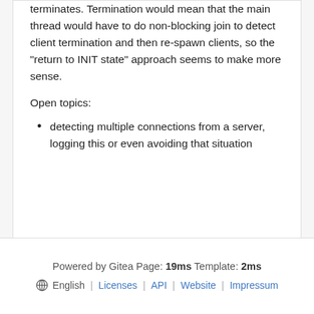terminates. Termination would mean that the main thread would have to do non-blocking join to detect client termination and then re-spawn clients, so the "return to INIT state" approach seems to make more sense.
Open topics:
detecting multiple connections from a server, logging this or even avoiding that situation
Powered by Gitea Page: 19ms Template: 2ms | English | Licenses | API | Website | Impressum